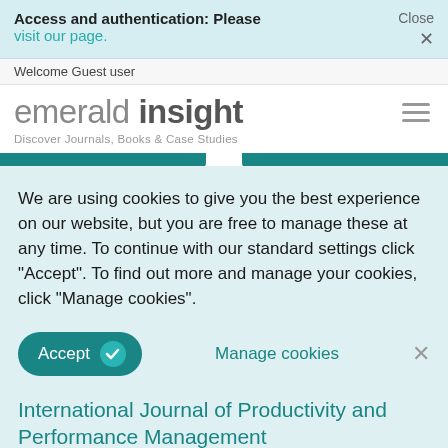Access and authentication: Please visit our page.
Close ×
Welcome Guest user
emerald insight
Discover Journals, Books & Case Studies
We are using cookies to give you the best experience on our website, but you are free to manage these at any time. To continue with our standard settings click "Accept". To find out more and manage your cookies, click "Manage cookies".
Accept
Manage cookies
×
International Journal of Productivity and Performance Management